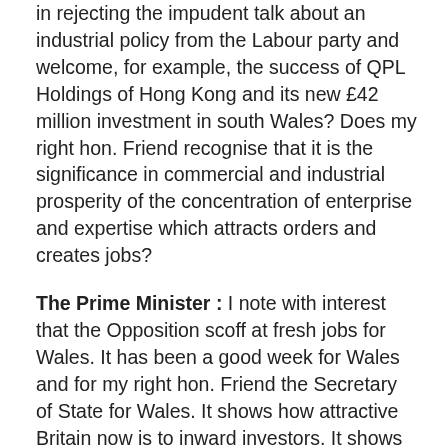in rejecting the impudent talk about an industrial policy from the Labour party and welcome, for example, the success of QPL Holdings of Hong Kong and its new £42 million investment in south Wales? Does my right hon. Friend recognise that it is the significance in commercial and industrial prosperity of the concentration of enterprise and expertise which attracts orders and creates jobs?
The Prime Minister : I note with interest that the Opposition scoff at fresh jobs for Wales. It has been a good week for Wales and for my right hon. Friend the Secretary of State for Wales. It shows how attractive Britain now is to inward investors. It shows also that the Labour party hates new jobs, wherever they may come from, if it feels any of the credit will rub off on the Government's policies. We intend to keep Britain attractive for inward